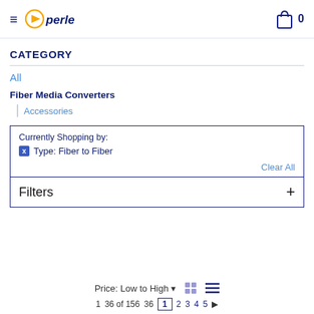perle — cart: 0
CATEGORY
All
Fiber Media Converters
Accessories
Currently Shopping by:
X Type: Fiber to Fiber
Clear All
Filters +
Price: Low to High ▾
1  36 of 156  36  1  2  3  4  5  ▶